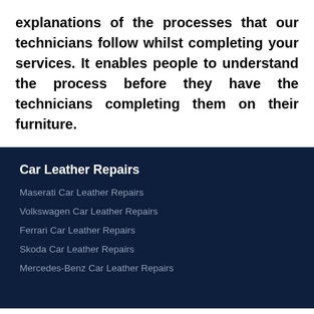explanations of the processes that our technicians follow whilst completing your services. It enables people to understand the process before they have the technicians completing them on their furniture.
Car Leather Repairs
Maserati Car Leather Repairs
Volkswagen Car Leather Repairs
Ferrari Car Leather Repairs
Skoda Car Leather Repairs
Mercedes-Benz Car Leather Repairs